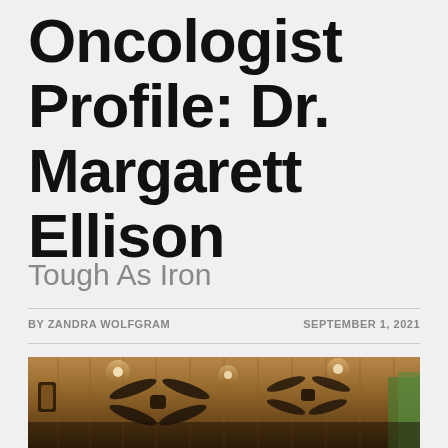Oncologist Profile: Dr. Margarett Ellison
Tough As Iron
BY ZANDRA WOLFGRAM
SEPTEMBER 1, 2021
[Figure (photo): Interior photo showing a wood-paneled ceiling with ceiling fans, warm brown tones, recessed lighting, and a glimpse of greenery at the right edge.]